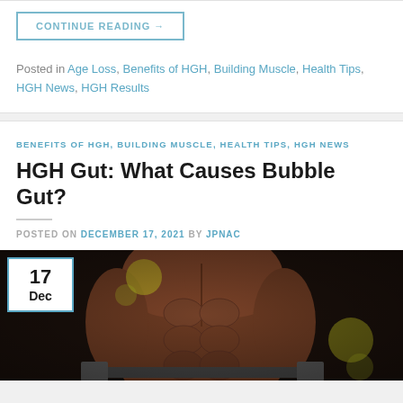CONTINUE READING →
Posted in Age Loss, Benefits of HGH, Building Muscle, Health Tips, HGH News, HGH Results
BENEFITS OF HGH, BUILDING MUSCLE, HEALTH TIPS, HGH NEWS
HGH Gut: What Causes Bubble Gut?
POSTED ON DECEMBER 17, 2021 BY JPNAC
[Figure (photo): A muscular male torso showing defined abdominal muscles, holding a barbell in a dark gym setting. Date badge overlay showing '17 Dec' in top left corner.]